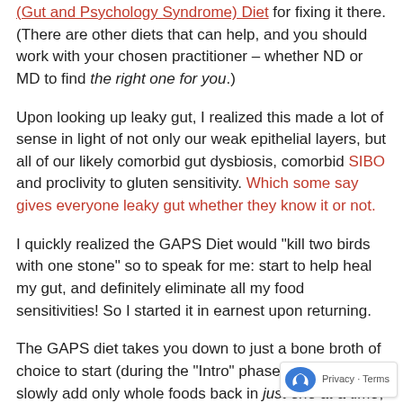(Gut and Psychology Syndrome) Diet for fixing it there. (There are other diets that can help, and you should work with your chosen practitioner – whether ND or MD to find the right one for you.)
Upon looking up leaky gut, I realized this made a lot of sense in light of not only our weak epithelial layers, but all of our likely comorbid gut dysbiosis, comorbid SIBO and proclivity to gluten sensitivity. Which some say gives everyone leaky gut whether they know it or not.
I quickly realized the GAPS Diet would "kill two birds with one stone" so to speak for me: start to help heal my gut, and definitely eliminate all my food sensitivities! So I started it in earnest upon returning.
The GAPS diet takes you down to just a bone broth of choice to start (during the "Intro" phase), then you slowly add only whole foods back in just one at a time, only every 3 days so you can truly detect any reactions and sensitivities. The collagen filled bone broth helps soothe